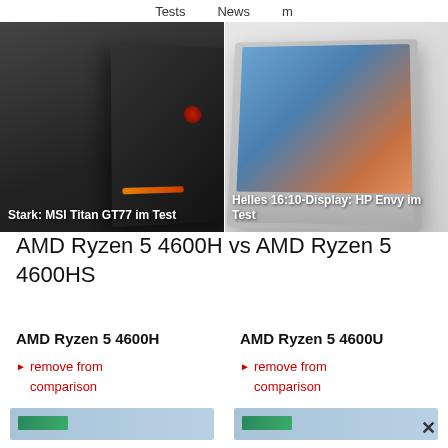Tests   News   m
[Figure (photo): MSI Titan GT77 gaming laptop shown from rear angle against dark background, with orange keyboard glow and red MSI logo. Caption: Stark: MSI Titan GT77 im Test]
[Figure (photo): HP Envy laptop open showing screen with scenic display. Caption: Helles 16:10-Display: HP Envy im Test]
AMD Ryzen 5 4600H vs AMD Ryzen 5 4600HS
AMD Ryzen 5 4600H
► remove from comparison
AMD Ryzen 5 4600U
► remove from comparison
[Figure (photo): AMD Ryzen chip image for AMD Ryzen 5 4600H]
[Figure (photo): AMD Ryzen chip image for AMD Ryzen 5 4600U]